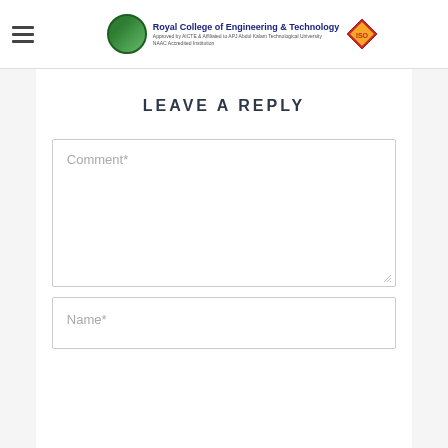[Figure (logo): Royal College of Engineering & Technology logo with hamburger menu icon, college emblem, name text, and quality badge diamond]
LEAVE A REPLY
Comment*
Name*